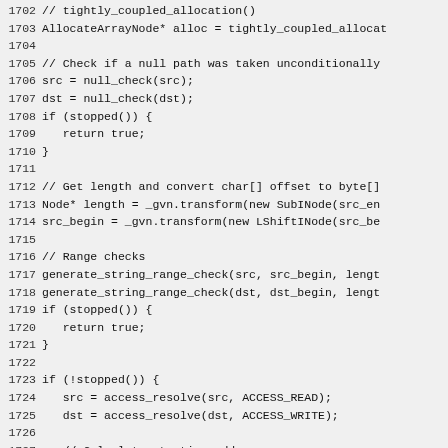Code listing lines 1702-1732, showing C++ source code for array copy operations including null checks, range checks, and address calculations.